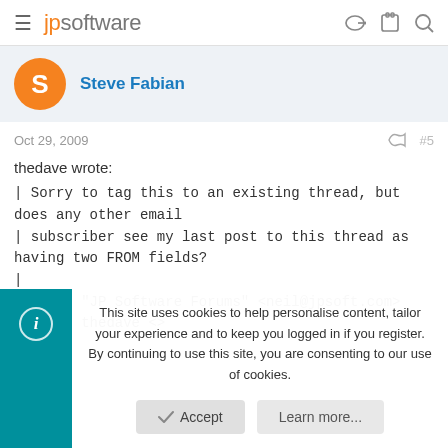jpsoftware
Steve Fabian
Oct 29, 2009  #5
thedave wrote:
| Sorry to tag this to an existing thread, but does any other email
| subscriber see my last post to this thread as having two FROM fields?
|
| From: "JP Software Forums" <neil@jpsoft.com>
| From: thedave <>
This site uses cookies to help personalise content, tailor your experience and to keep you logged in if you register.
By continuing to use this site, you are consenting to our use of cookies.